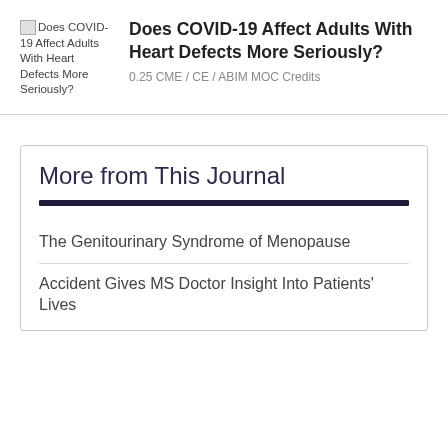[Figure (photo): Broken image thumbnail with alt text 'Does COVID-19 Affect Adults With Heart Defects More Seriously?' displayed as vertical text alongside the image placeholder]
Does COVID-19 Affect Adults With Heart Defects More Seriously?
0.25 CME / CE / ABIM MOC Credits
More from This Journal
The Genitourinary Syndrome of Menopause
Accident Gives MS Doctor Insight Into Patients' Lives